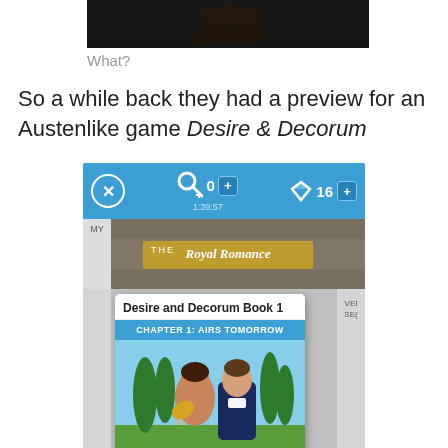[Figure (screenshot): Dark screenshot showing a raised fist silhouette against a dark background, top portion of a mobile game interface]
What?
So a while back they had a preview for an Austenlike game Desire & Decorum
[Figure (screenshot): Mobile game app screenshot showing 'Desire and Decorum Book 1' with 'CHAPTER 1: AIRS TOMORROW' banner, featuring two characters (a woman with a fan and a man in a suit) against a garden background with cypress trees. The game UI shows a close button, key icon, 0 keys with timer 1:39:57, and 16 diamonds.]